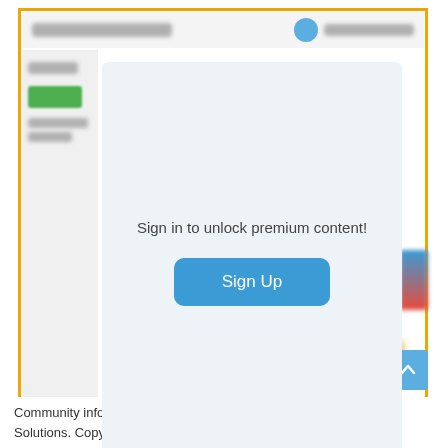[Figure (screenshot): Screenshot of a web page showing a 'Sign in to unlock premium content!' modal dialog with a blue Sign Up button over a blurred content background, surrounded by an orange border frame.]
Sign in to unlock premium content!
Sign Up
Community information and market data Powered by ATTOM Data Solutions. Copyright ©2019 ATTOM Data